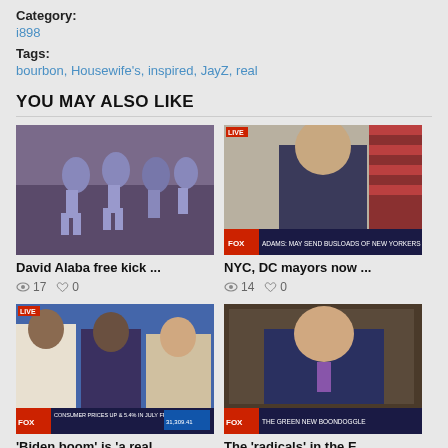Category:
i898
Tags:
bourbon, Housewife's, inspired, JayZ, real
YOU MAY ALSO LIKE
[Figure (photo): Soccer players running on field in blue uniforms]
David Alaba free kick ...
17 views, 0 likes
[Figure (photo): Fox News live broadcast with man in suit and American flags]
NYC, DC mayors now ...
14 views, 0 likes
[Figure (photo): Fox News live panel with three men discussing economics]
'Biden boom' is 'a real...
19 views, 0 likes
[Figure (photo): Man in suit smiling with Fox News Green New Boondoggle chyron]
The 'radicals' in the E...
13 views, 0 likes
[Figure (photo): Partial image at bottom left]
[Figure (photo): Partial image at bottom right showing building exterior]